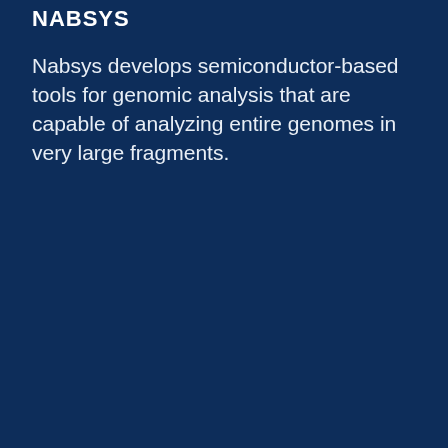NABSYS
Nabsys develops semiconductor-based tools for genomic analysis that are capable of analyzing entire genomes in very large fragments.